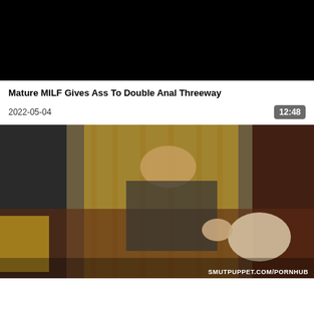[Figure (photo): Black video player area (no content loaded)]
Mature MILF Gives Ass To Double Anal Threeway
2022-05-04
12:48
[Figure (photo): Thumbnail image of adult video content with watermark SMUTPUPPET.COM/PORNHUB]